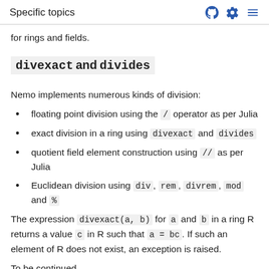Specific topics
for rings and fields.
divexact and divides
Nemo implements numerous kinds of division:
floating point division using the / operator as per Julia
exact division in a ring using divexact and divides
quotient field element construction using // as per Julia
Euclidean division using div, rem, divrem, mod and %
The expression divexact(a, b) for a and b in a ring R returns a value c in R such that a = bc. If such an element of R does not exist, an exception is raised.
...